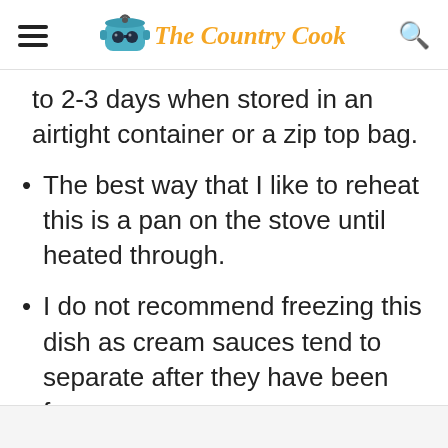The Country Cook
to 2-3 days when stored in an airtight container or a zip top bag.
The best way that I like to reheat this is a pan on the stove until heated through.
I do not recommend freezing this dish as cream sauces tend to separate after they have been frozen.